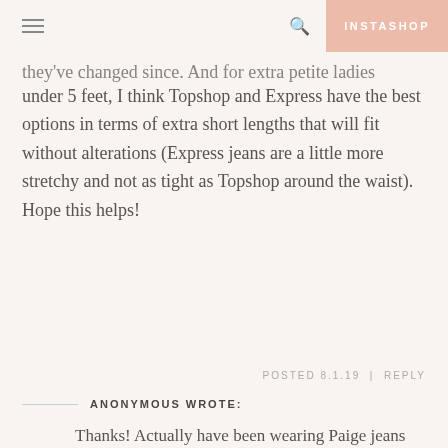INSTASHOP
they've changed since. And for extra petite ladies under 5 feet, I think Topshop and Express have the best options in terms of extra short lengths that will fit without alterations (Express jeans are a little more stretchy and not as tight as Topshop around the waist). Hope this helps!
POSTED 8.1.19   |   REPLY
ANONYMOUS WROTE:
Thanks! Actually have been wearing Paige jeans for 7 years. They come in "short" and have good fit. Was looking for some lower-priced options.
POSTED 8.2.19   |   REPLY